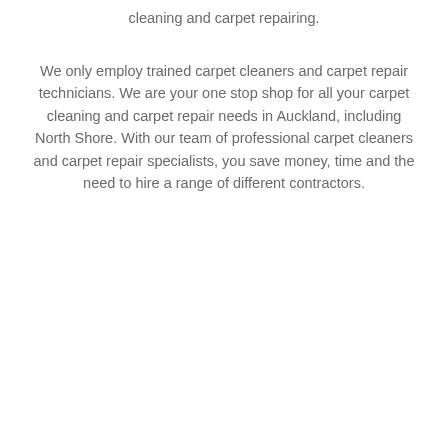cleaning and carpet repairing.
We only employ trained carpet cleaners and carpet repair technicians. We are your one stop shop for all your carpet cleaning and carpet repair needs in Auckland, including North Shore. With our team of professional carpet cleaners and carpet repair specialists, you save money, time and the need to hire a range of different contractors.